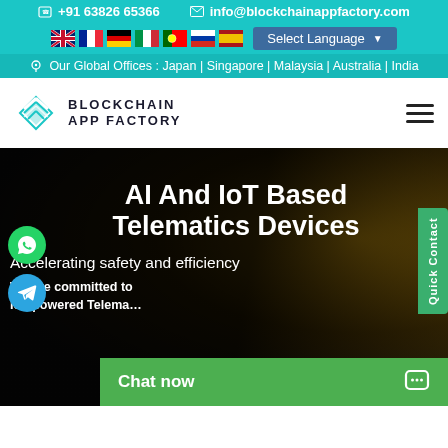📱 +91 63826 65366   ✉ info@blockchainappfactory.com
Select Language
Our Global Offices : Japan | Singapore | Malaysia | Australia | India
[Figure (logo): Blockchain App Factory logo with teal diamond/chevron icon and bold text BLOCKCHAIN APP FACTORY]
AI And IoT Based Telematics Devices
Accelerating safety and efficiency
We are committed to IoT powered Telema…
Chat now